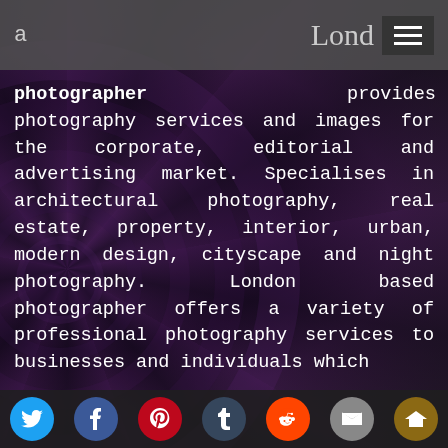a   Lond≡
photographer provides photography services and images for the corporate, editorial and advertising market. Specialises in architectural photography, real estate, property, interior, urban, modern design, cityscape and night photography. London based photographer offers a variety of professional photography services to businesses and individuals which
[social icons: Twitter, Facebook, Pinterest, Tumblr, Reddit, Email, Crown]